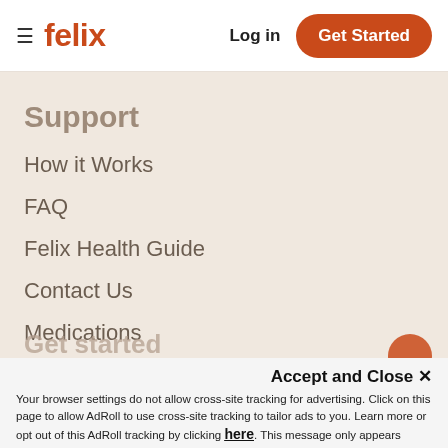felix  Log in  Get Started
Support
How it Works
FAQ
Felix Health Guide
Contact Us
Medications
Accept and Close ✕
Your browser settings do not allow cross-site tracking for advertising. Click on this page to allow AdRoll to use cross-site tracking to tailor ads to you. Learn more or opt out of this AdRoll tracking by clicking here. This message only appears once.